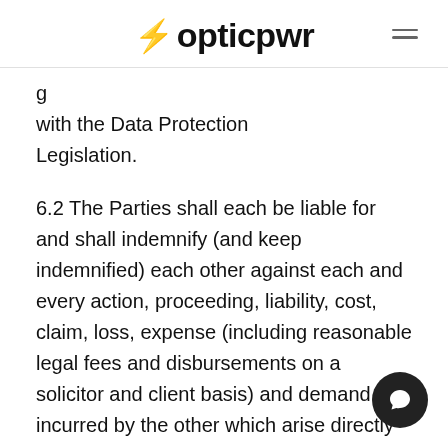⚡ opticpwr
g…with the Data Protection Legislation.
6.2 The Parties shall each be liable for and shall indemnify (and keep indemnified) each other against each and every action, proceeding, liability, cost, claim, loss, expense (including reasonable legal fees and disbursements on a solicitor and client basis) and demand incurred by the other which arise directly or in